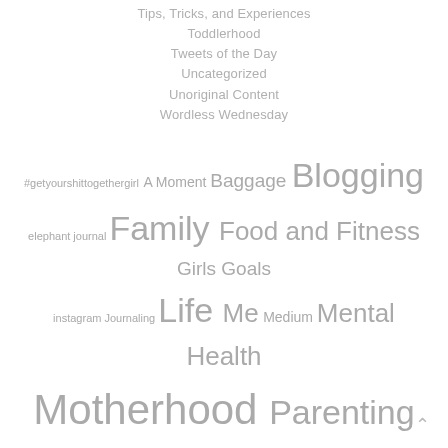Tips, Tricks, and Experiences
Toddlerhood
Tweets of the Day
Uncategorized
Unoriginal Content
Wordless Wednesday
[Figure (other): Tag cloud with words of varying sizes: #getyourshittogethergirl, A Moment, Baggage, Blogging, elephant journal, Family, Food and Fitness, Girls, Goals, instagram, Journaling, Life, Me, Medium, Mental Health, Motherhood, Parenting, Recovery, School, School-age, Soap Box, Social Media, Social Work, Thirties, Uncategorized]
^